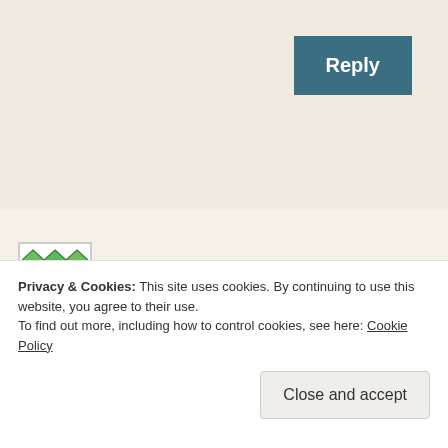Reply
Amy
September 7, 2020 at 8:05 am
I love the idea of calling them Mad Apples, although it's not a name I've heard before. 🙂
Privacy & Cookies: This site uses cookies. By continuing to use this website, you agree to their use.
To find out more, including how to control cookies, see here: Cookie Policy
Close and accept